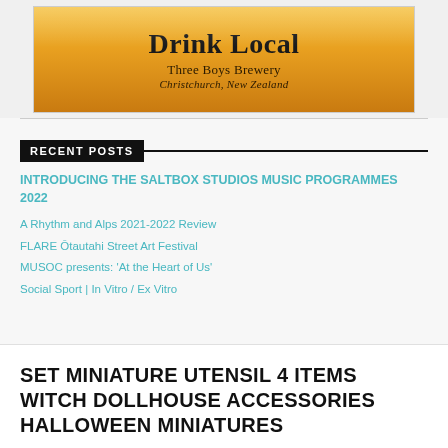[Figure (illustration): Advertisement for Three Boys Brewery showing 'Drink Local' text on a golden/amber beer glass or can shape with brewery name and location 'Christchurch, New Zealand']
RECENT POSTS
INTRODUCING THE SALTBOX STUDIOS MUSIC PROGRAMMES 2022
A Rhythm and Alps 2021-2022 Review
FLARE Ōtautahi Street Art Festival
MUSOC presents: 'At the Heart of Us'
Social Sport | In Vitro / Ex Vitro
SET MINIATURE UTENSIL 4 ITEMS WITCH DOLLHOUSE ACCESSORIES HALLOWEEN MINIATURES